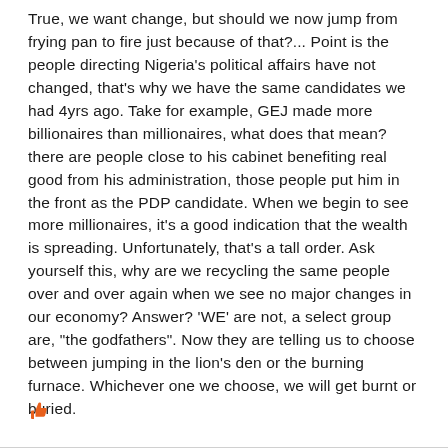True, we want change, but should we now jump from frying pan to fire just because of that?... Point is the people directing Nigeria's political affairs have not changed, that's why we have the same candidates we had 4yrs ago. Take for example, GEJ made more billionaires than millionaires, what does that mean? there are people close to his cabinet benefiting real good from his administration, those people put him in the front as the PDP candidate. When we begin to see more millionaires, it's a good indication that the wealth is spreading. Unfortunately, that's a tall order. Ask yourself this, why are we recycling the same people over and over again when we see no major changes in our economy? Answer? 'WE' are not, a select group are, "the godfathers". Now they are telling us to choose between jumping in the lion's den or the burning furnace. Whichever one we choose, we will get burnt or buried.
[Figure (illustration): Orange thumbs up icon (like/upvote button)]